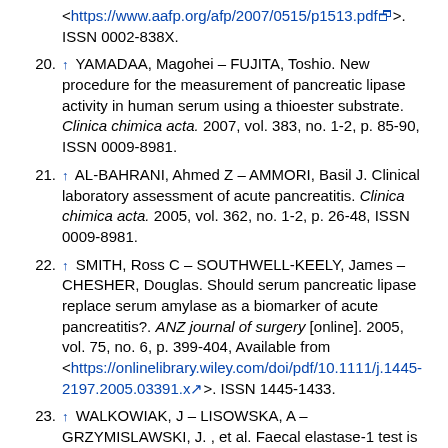<https://www.aafp.org/afp/2007/0515/p1513.pdf>. ISSN 0002-838X.
20. ↑ YAMADAA, Magohei – FUJITA, Toshio. New procedure for the measurement of pancreatic lipase activity in human serum using a thioester substrate. Clinica chimica acta. 2007, vol. 383, no. 1-2, p. 85-90, ISSN 0009-8981.
21. ↑ AL-BAHRANI, Ahmed Z – AMMORI, Basil J. Clinical laboratory assessment of acute pancreatitis. Clinica chimica acta. 2005, vol. 362, no. 1-2, p. 26-48, ISSN 0009-8981.
22. ↑ SMITH, Ross C – SOUTHWELL-KEELY, James – CHESHER, Douglas. Should serum pancreatic lipase replace serum amylase as a biomarker of acute pancreatitis?. ANZ journal of surgery [online]. 2005, vol. 75, no. 6, p. 399-404, Available from <https://onlinelibrary.wiley.com/doi/pdf/10.1111/j.1445-2197.2005.03391.x>. ISSN 1445-1433.
23. ↑ WALKOWIAK, J – LISOWSKA, A – GRZYMISLAWSKI, J. , et al. Faecal elastase-1 test is superior to faecal lipase test in the assessment of exocrine pancreatic function in cystic fibrosis. Acta paediatrica. 2004, vol. 93, no. 8, p.